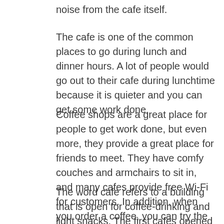noise from the cafe itself.
The cafe is one of the common places to go during lunch and dinner hours. A lot of people would go out to their cafe during lunchtime because it is quieter and you can get some work done.
Coffee shops are a great place for people to get work done, but even more, they provide a great place for friends to meet. They have comfy couches and armchairs to sit in, and many cafes provide free Wi-Fi for customers. In addition, when you order a coffee, you can try the fancy espresso drinks that are unique to your area.
The word cafe refers to a building that is open for coffee-drinking and light snacks. The first cafes opened in France during the early 18th century.